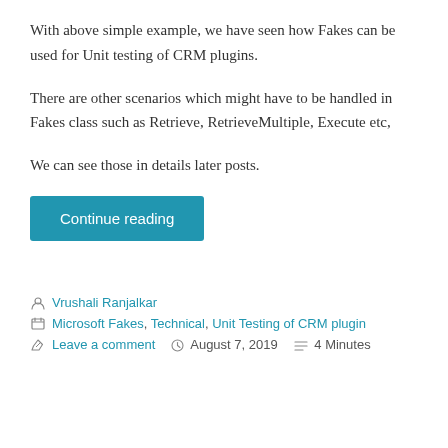With above simple example, we have seen how Fakes can be used for Unit testing of CRM plugins.
There are other scenarios which might have to be handled in Fakes class such as Retrieve, RetrieveMultiple, Execute etc,
We can see those in details later posts.
Continue reading
Vrushali Ranjalkar | Microsoft Fakes, Technical, Unit Testing of CRM plugin | Leave a comment | August 7, 2019 | 4 Minutes